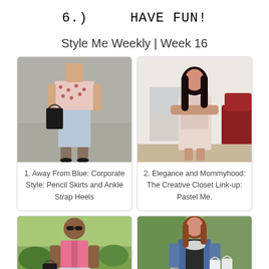6.)    HAVE FUN!
Style Me Weekly | Week 16
[Figure (photo): Woman wearing a polka dot top, light blue pencil skirt, and black ankle strap heels, carrying a black handbag.]
1. Away From Blue: Corporate Style: Pencil Skirts and Ankle Strap Heels
[Figure (photo): Woman in a light pink/blush sleeveless dress, arms crossed, standing indoors near a red chair.]
2. Elegance and Mommyhood: The Creative Closet Link-up: Pastel Me.
[Figure (photo): Woman wearing a pink button-up shirt, patterned skirt, and sunglasses, carrying a black handbag, standing outdoors.]
[Figure (photo): Woman wearing a denim jacket over a dark outfit, carrying white shopping bags, standing on a driveway outdoors.]